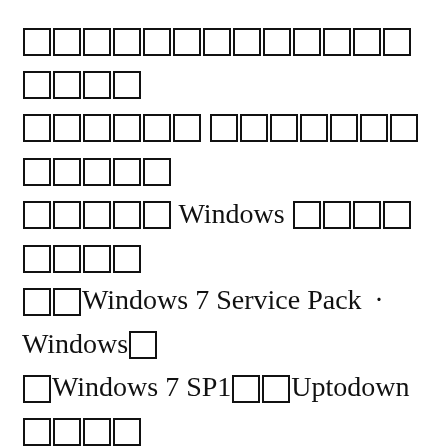□□□□□□□□□□□□□□□□□ □□□□□□ □□□□□□□□□□□□ □□□□□ Windows □□□□□□□□ □□Windows 7 Service Pack · Windows□ □Windows 7 SP1□□Uptodown□□□□ □□□□□□□□□□□□□□□□□□ □□□□□□□□□ Windows 7 SP1 is the first big update for Microsoft's latest Operating System, Windows 7 SP1 64 bits.3,3/5(3)